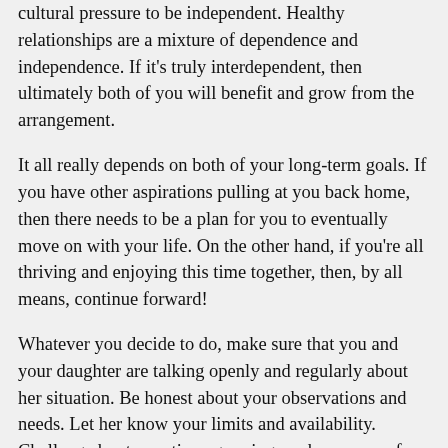cultural pressure to be independent. Healthy relationships are a mixture of dependence and independence. If it's truly interdependent, then ultimately both of you will benefit and grow from the arrangement.
It all really depends on both of your long-term goals. If you have other aspirations pulling at you back home, then there needs to be a plan for you to eventually move on with your life. On the other hand, if you're all thriving and enjoying this time together, then, by all means, continue forward!
Whatever you decide to do, make sure that you and your daughter are talking openly and regularly about her situation. Be honest about your observations and needs. Let her know your limits and availability. Challenge her to continue growing so she can care for her son and herself. Encourage